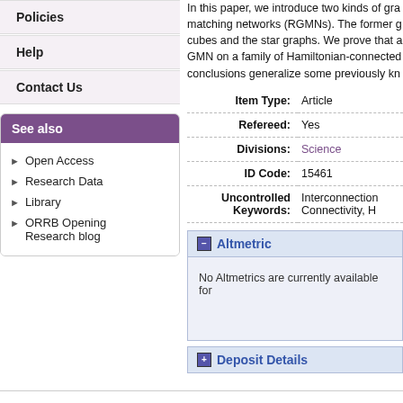Policies
Help
Contact Us
See also
Open Access
Research Data
Library
ORRB Opening Research blog
In this paper, we introduce two kinds of gra matching networks (RGMNs). The former g cubes and the star graphs. We prove that a GMN on a family of Hamiltonian-connected conclusions generalize some previously kn
| Field | Value |
| --- | --- |
| Item Type: | Article |
| Refereed: | Yes |
| Divisions: | Science |
| ID Code: | 15461 |
| Uncontrolled Keywords: | Interconnection Connectivity, H |
- Altmetric
No Altmetrics are currently available for
+ Deposit Details